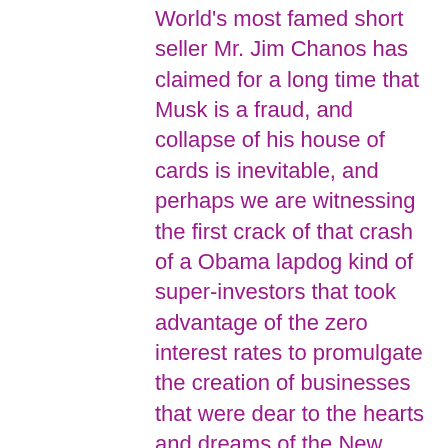World's most famed short seller Mr. Jim Chanos has claimed for a long time that Musk is a fraud, and collapse of his house of cards is inevitable, and perhaps we are witnessing the first crack of that crash of a Obama lapdog kind of super-investors that took advantage of the zero interest rates to promulgate the creation of businesses that were dear to the hearts and dreams of the New World Disorder clowns and other “Deep State” conspirators.
Will Musk & his creations survive the brutality of the real supply& demand Trump economy? Don’t bet on it.